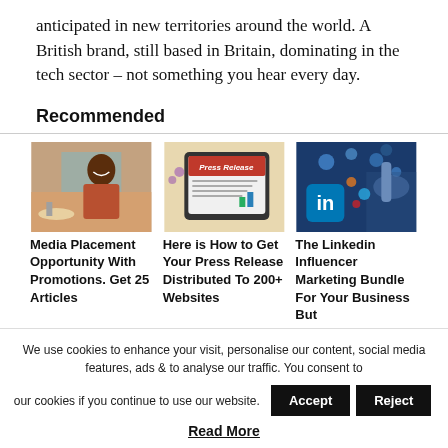anticipated in new territories around the world. A British brand, still based in Britain, dominating in the tech sector – not something you hear every day.
Recommended
[Figure (photo): Woman smiling at a table with food]
[Figure (photo): Tablet showing a Press Release document]
[Figure (photo): Person pointing at LinkedIn and social media icons floating in the air]
Media Placement Opportunity With Promotions. Get 25 Articles
Here is How to Get Your Press Release Distributed To 200+ Websites
The Linkedin Influencer Marketing Bundle For Your Business But
We use cookies to enhance your visit, personalise our content, social media features, ads & to analyse our traffic. You consent to our cookies if you continue to use our website.
Read More